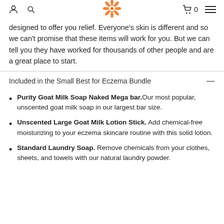[user icon] [search icon] [sunflower logo] [cart 0] [menu]
designed to offer you relief. Everyone's skin is different and so we can't promise that these items will work for you. But we can tell you they have worked for thousands of other people and are a great place to start.
Included in the Small Best for Eczema Bundle
Purity Goat Milk Soap Naked Mega bar. Our most popular, unscented goat milk soap in our largest bar size.
Unscented Large Goat Milk Lotion Stick. Add chemical-free moisturizing to your eczema skincare routine with this solid lotion.
Standard Laundry Soap. Remove chemicals from your clothes, sheets, and towels with our natural laundry powder.